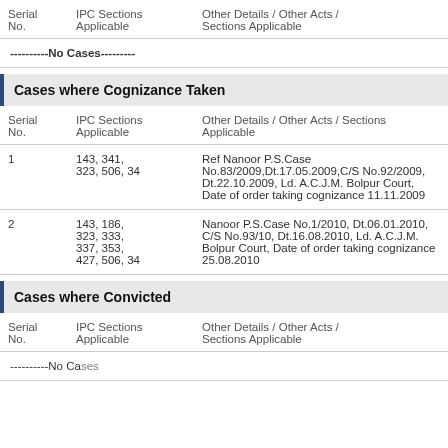| Serial No. | IPC Sections Applicable | Other Details / Other Acts / Sections Applicable |
| --- | --- | --- |
| ----------No Cases--------- |
Cases where Cognizance Taken
| Serial No. | IPC Sections Applicable | Other Details / Other Acts / Sections Applicable |
| --- | --- | --- |
| 1 | 143, 341, 323, 506, 34 | Ref Nanoor P.S.Case No.83/2009,Dt.17.05.2009,C/S No.92/2009, Dt.22.10.2009, Ld. A.C.J.M. Bolpur Court, Date of order taking cognizance 11.11.2009 |
| 2 | 143, 186, 323, 333, 337, 353, 427, 506, 34 | Nanoor P.S.Case No.1/2010, Dt.06.01.2010, C/S No.93/10, Dt.16.08.2010, Ld. A.C.J.M. Bolpur Court, Date of order taking cognizance 25.08.2010 |
Cases where Convicted
| Serial No. | IPC Sections Applicable | Other Details / Other Acts / Sections Applicable |
| --- | --- | --- |
| ----------No Cases--------- |